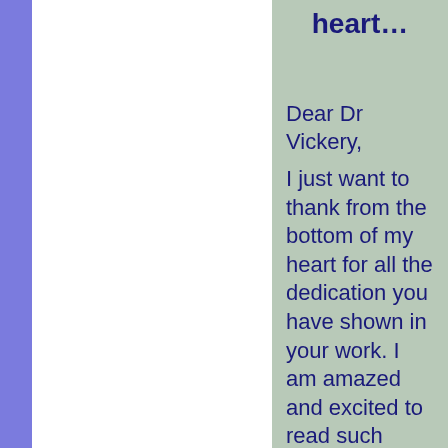heart…
Dear Dr Vickery,
I just want to thank from the bottom of my heart for all the dedication you have shown in your work. I am amazed and excited to read such detailed information,and was so